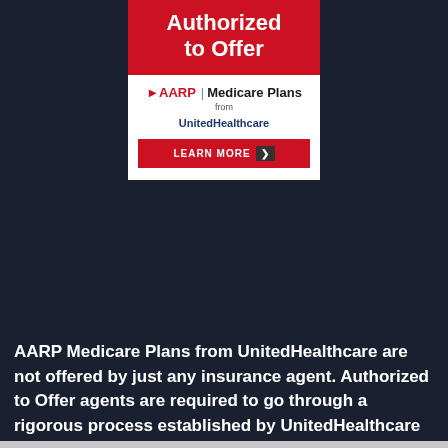[Figure (illustration): AARP Medicare Plans from UnitedHealthcare advertisement banner. Red top section with white bold text 'Authorized to Offer', white middle section with AARP logo and 'Medicare Plans from UnitedHealthcare' text, and a red 'LEARN MORE' button with dark chevron.]
AARP Medicare Plans from UnitedHealthcare are not offered by just any insurance agent. Authorized to Offer agents are required to go through a rigorous process established by UnitedHealthcare and AARP Services, Inc...
Learn More >>